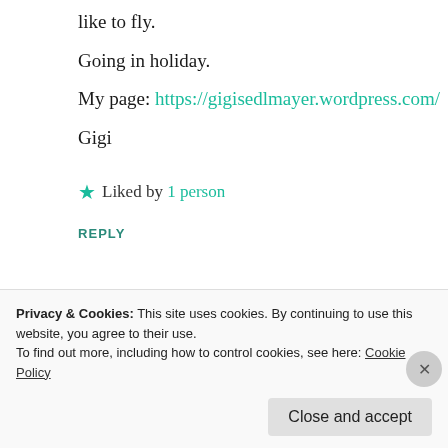like to fly.
Going in holiday.
My page: https://gigisedlmayer.wordpress.com/
Gigi
Liked by 1 person
REPLY
[Figure (logo): Black circular avatar with 'Simply Notable' text]
FreeBryd
Privacy & Cookies: This site uses cookies. By continuing to use this website, you agree to their use. To find out more, including how to control cookies, see here: Cookie Policy
Close and accept